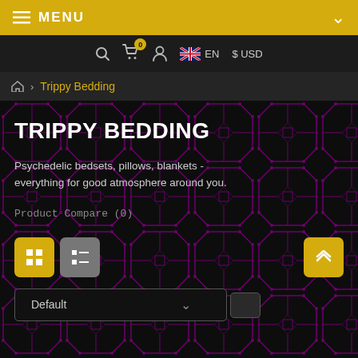MENU
🔍 🛒 (0) 👤 EN $ USD
🏠 > Trippy Bedding
TRIPPY BEDDING
Psychedelic bedsets, pillows, blankets - everything for good atmosphere around you.
Product Compare (0)
Default ▾